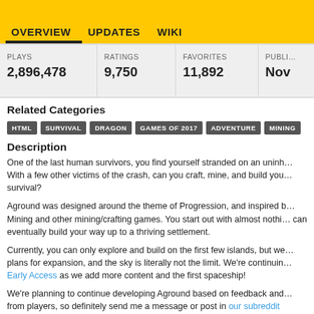OVERVIEW   UPDATES   WIKI
| PLAYS | RATINGS | FAVORITES | PUBLI… |
| --- | --- | --- | --- |
| 2,896,478 | 9,750 | 11,892 | Nov |
Related Categories
HTML
SURVIVAL
DRAGON
GAMES OF 2017
ADVENTURE
MINING
Description
One of the last human survivors, you find yourself stranded on an uninh… With a few other victims of the crash, can you craft, mine, and build you… survival?
Aground was designed around the theme of Progression, and inspired b… Mining and other mining/crafting games. You start out with almost nothi… can eventually build your way up to a thriving settlement.
Currently, you can only explore and build on the first few islands, but we… plans for expansion, and the sky is literally not the limit. We're continuin… Early Access as we add more content and the first spaceship!
We're planning to continue developing Aground based on feedback and… from players, so definitely send me a message or post in our subreddit